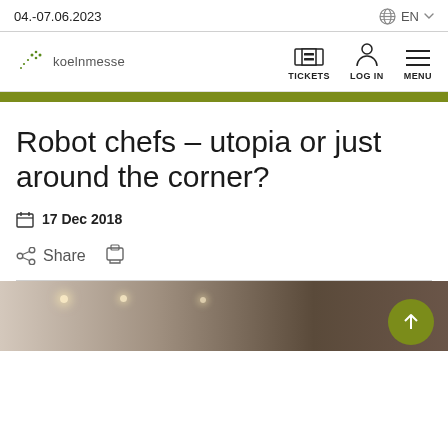04.-07.06.2023
[Figure (logo): Koelnmesse logo with dots and text 'koelnmesse']
Robot chefs – utopia or just around the corner?
17 Dec 2018
Share
[Figure (photo): Interior photo of a modern kitchen or restaurant space with track lighting and wooden paneling]